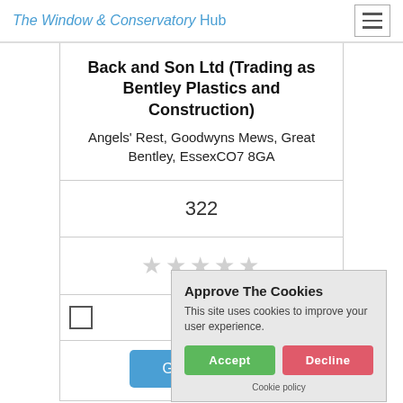The Window & Conservatory Hub
Back and Son Ltd (Trading as Bentley Plastics and Construction)
Angels' Rest, Goodwyns Mews, Great Bentley, EssexCO7 8GA
322
[Figure (other): Five empty star rating icons]
Get a Quote
Approve The Cookies
This site uses cookies to improve your user experience.
Accept | Decline
Cookie policy